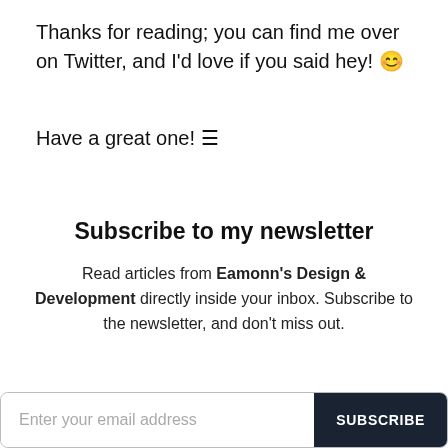Thanks for reading; you can find me over on Twitter, and I'd love if you said hey! 😊
Have a great one! ☰
Subscribe to my newsletter
Read articles from Eamonn's Design & Development directly inside your inbox. Subscribe to the newsletter, and don't miss out.
Enter your email address  SUBSCRIBE